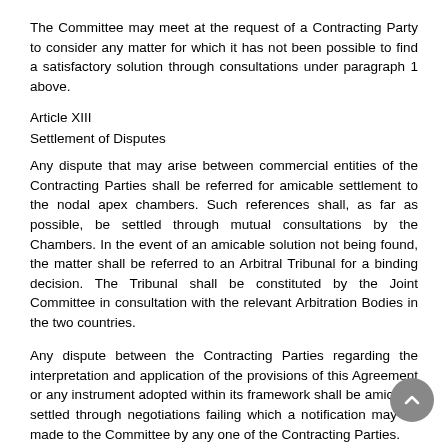The Committee may meet at the request of a Contracting Party to consider any matter for which it has not been possible to find a satisfactory solution through consultations under paragraph 1 above.
Article XIII
Settlement of Disputes
Any dispute that may arise between commercial entities of the Contracting Parties shall be referred for amicable settlement to the nodal apex chambers. Such references shall, as far as possible, be settled through mutual consultations by the Chambers. In the event of an amicable solution not being found, the matter shall be referred to an Arbitral Tribunal for a binding decision. The Tribunal shall be constituted by the Joint Committee in consultation with the relevant Arbitration Bodies in the two countries.
Any dispute between the Contracting Parties regarding the interpretation and application of the provisions of this Agreement or any instrument adopted within its framework shall be amicably settled through negotiations failing which a notification may be made to the Committee by any one of the Contracting Parties.
Article XIV